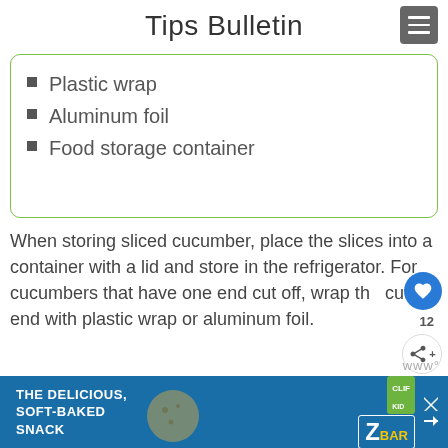Tips Bulletin
Plastic wrap
Aluminum foil
Food storage container
When storing sliced cucumber, place the slices into a container with a lid and store in the refrigerator. For cucumbers that have one end cut off, wrap the cut end with plastic wrap or aluminum foil.
[Figure (infographic): Advertisement banner: THE DELICIOUS, SOFT-BAKED SNACK with CLIF KID ZBAR logo]